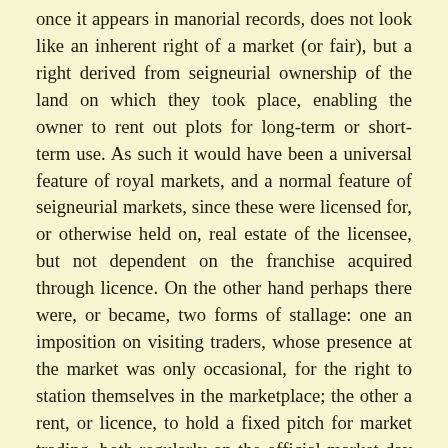once it appears in manorial records, does not look like an inherent right of a market (or fair), but a right derived from seigneurial ownership of the land on which they took place, enabling the owner to rent out plots for long-term or short-term use. As such it would have been a universal feature of royal markets, and a normal feature of seigneurial markets, since these were licensed for, or otherwise held on, real estate of the licensee, but not dependent on the franchise acquired through licence. On the other hand perhaps there were, or became, two forms of stallage: one an imposition on visiting traders, whose presence at the market was only occasional, for the right to station themselves in the marketplace; the other a rent, or licence, to hold a fixed pitch for market trading, both regularly on the official market day and on other days of the week when market was not formally in session. This is a topic that requires further study. Markets on ancient royal estates may have served as a model on which to base grants of privileges to later foundations, but was not the only model; as was the case with charters of urban